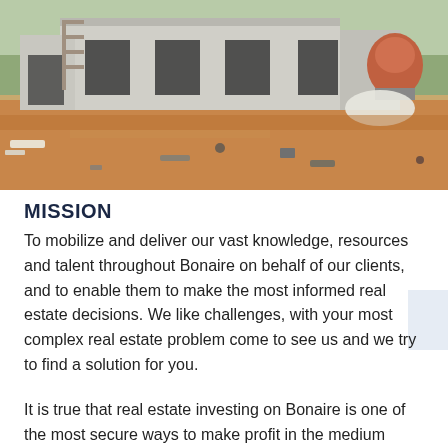[Figure (photo): Photograph of a construction site showing an unfinished concrete building with open doorways and windows, dirt ground in the foreground, and a cement mixer visible on the right side. Sky with sparse trees visible in the background.]
MISSION
To mobilize and deliver our vast knowledge, resources and talent throughout Bonaire on behalf of our clients, and to enable them to make the most informed real estate decisions. We like challenges, with your most complex real estate problem come to see us and we try to find a solution for you.
It is true that real estate investing on Bonaire is one of the most secure ways to make profit in the medium